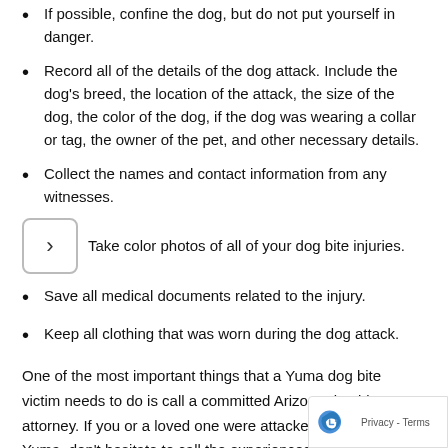If possible, confine the dog, but do not put yourself in danger.
Record all of the details of the dog attack. Include the dog's breed, the location of the attack, the size of the dog, the color of the dog, if the dog was wearing a collar or tag, the owner of the pet, and other necessary details.
Collect the names and contact information from any witnesses.
Take color photos of all of your dog bite injuries.
Save all medical documents related to the injury.
Keep all clothing that was worn during the dog attack.
One of the most important things that a Yuma dog bite victim needs to do is call a committed Arizona dog bite attorney. If you or a loved one were attacked by a dog in Yuma, don't hesitate to call the experienced bilingual Spanish-speaking dog bite attorneys at ELG. We answer any questions you may have about your dog bite inc…